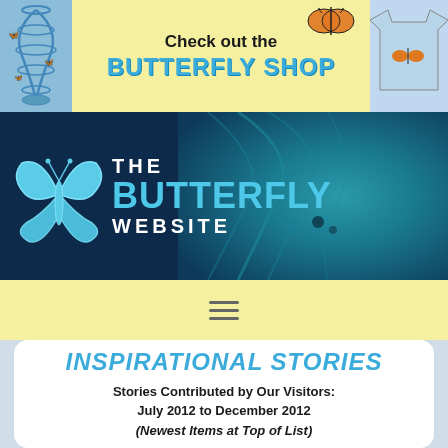[Figure (screenshot): Top yellow banner with butterfly cage image on left, 'Check out the BUTTERFLY SHOP' text in center, and t-shirt image on right]
[Figure (logo): The Butterfly Website logo: blue butterfly icon on left, 'THE BUTTERFLY WEBSITE' text on right, on dark navy background with blue butterfly wing texture]
[Figure (screenshot): Yellow navigation bar with hamburger menu icon (three horizontal lines)]
INSPIRATIONAL STORIES
Stories Contributed by Our Visitors:
July 2012 to December 2012
(Newest Items at Top of List)